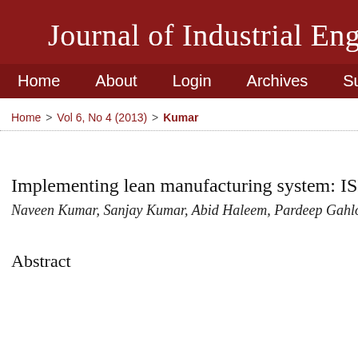Journal of Industrial Engin
Home  About  Login  Archives  Submissions  R
Home > Vol 6, No 4 (2013) > Kumar
Implementing lean manufacturing system: ISM appro
Naveen Kumar, Sanjay Kumar, Abid Haleem, Pardeep Gahlot
Abstract